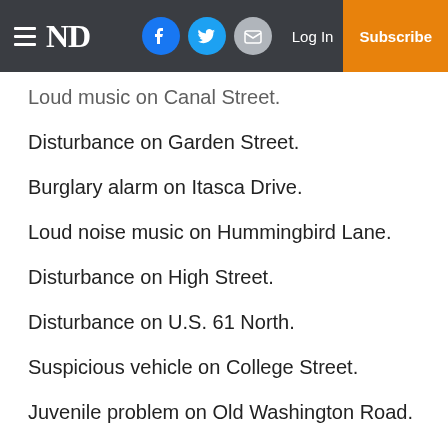ND | Log In | Subscribe
Loud music on Canal Street.
Disturbance on Garden Street.
Burglary alarm on Itasca Drive.
Loud noise music on Hummingbird Lane.
Disturbance on High Street.
Disturbance on U.S. 61 North.
Suspicious vehicle on College Street.
Juvenile problem on Old Washington Road.